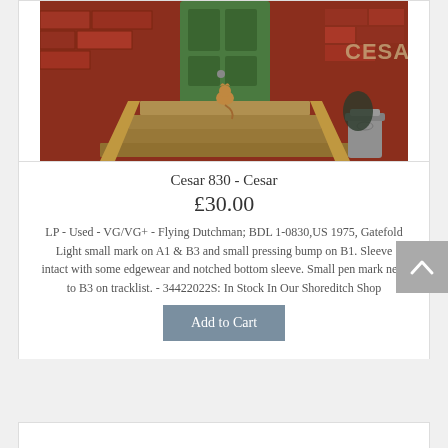[Figure (photo): Album cover for Cesar 830 - Cesar: painting of a cat sitting on stone steps in front of a green door, brick wall background with 'CESAR' text, trash can to the right]
Cesar 830 - Cesar
£30.00
LP - Used - VG/VG+ - Flying Dutchman; BDL 1-0830,US 1975, Gatefold Light small mark on A1 & B3 and small pressing bump on B1. Sleeve intact with some edgewear and notched bottom sleeve. Small pen mark next to B3 on tracklist. - 34422022S: In Stock In Our Shoreditch Shop
[Figure (photo): Partial photo of a woman with curly hair, bottom portion of image visible at page bottom]